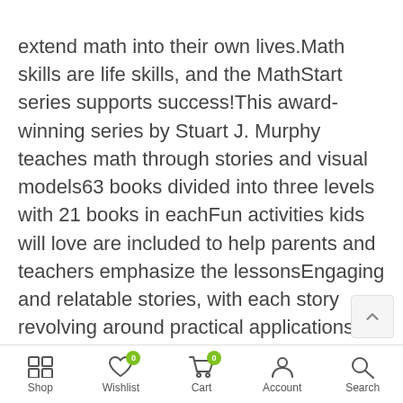extend math into their own lives.Math skills are life skills, and the MathStart series supports success!This award-winning series by Stuart J. Murphy teaches math through stories and visual models63 books divided into three levels with 21 books in eachFun activities kids will love are included to help parents and teachers emphasize the lessonsEngaging and relatable stories, with each story revolving around practical applications of the math concept presentedLively art from top-notch illustratorsCharts and other visual representations help children understand how the math works and promote deeper comprehensionMathStart's unique combinatio of stories, illustrations, and visual models helps
Shop  Wishlist  Cart  Account  Search